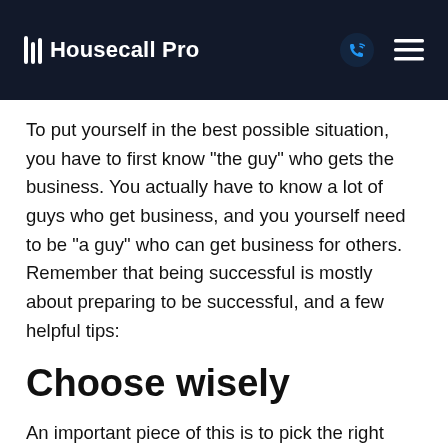Housecall Pro
To put yourself in the best possible situation, you have to first know "the guy" who gets the business. You actually have to know a lot of guys who get business, and you yourself need to be "a guy" who can get business for others. Remember that being successful is mostly about preparing to be successful, and a few helpful tips:
Choose wisely
An important piece of this is to pick the right people to